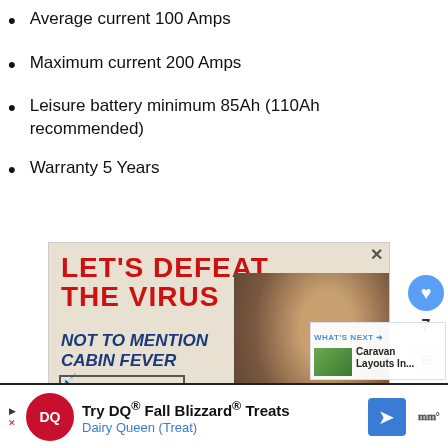Average current 100 Amps
Maximum current 200 Amps
Leisure battery minimum 85Ah (110Ah recommended)
Warranty 5 Years
[Figure (photo): Advertisement: Let's Defeat The Virus - Not To Mention Cabin Fever. Veterans Coalition for Vaccination. Don't Wait. Vaccinate. Shows woman flexing arm with colorful mask and bandage.]
[Figure (infographic): What's Next panel: Caravan Layouts In... with thumbnail image]
[Figure (photo): Bottom banner ad: Try DQ Fall Blizzard Treats - Dairy Queen (Treat) with DQ logo and navigation arrow]